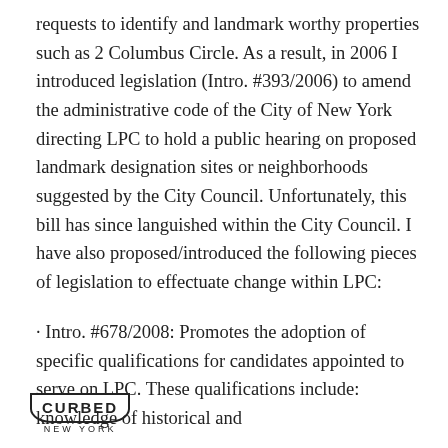requests to identify and landmark worthy properties such as 2 Columbus Circle. As a result, in 2006 I introduced legislation (Intro. #393/2006) to amend the administrative code of the City of New York directing LPC to hold a public hearing on proposed landmark designation sites or neighborhoods suggested by the City Council. Unfortunately, this bill has since languished within the City Council. I have also proposed/introduced the following pieces of legislation to effectuate change within LPC:
· Intro. #678/2008: Promotes the adoption of specific qualifications for candidates appointed to serve on LPC. These qualifications include: knowledge of historical and
CURBED NEW YORK